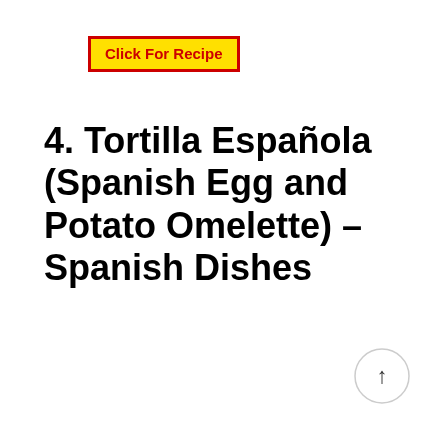[Figure (other): Yellow button with red border and red bold text reading 'Click For Recipe']
4. Tortilla Española (Spanish Egg and Potato Omelette) – Spanish Dishes
[Figure (other): Scroll-to-top circular button with an upward arrow icon, light gray border]